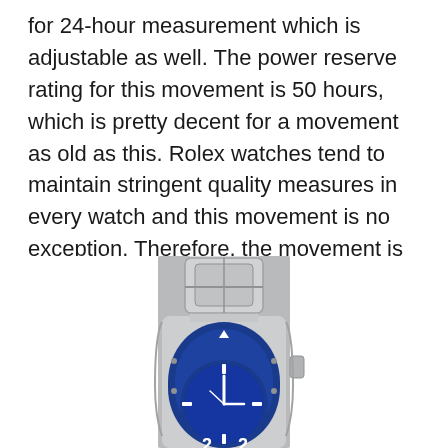for 24-hour measurement which is adjustable as well. The power reserve rating for this movement is 50 hours, which is pretty decent for a movement as old as this. Rolex watches tend to maintain stringent quality measures in every watch and this movement is no exception. Therefore, the movement is COSC certified as well. As far as safety is concerned, the watch has a Parachrom hairspring as well which is a lot more shock-resistant.
[Figure (photo): Close-up photo of a Rolex watch with a blue bezel showing the bracelet clasp and part of the dial with white numerals on blue background.]